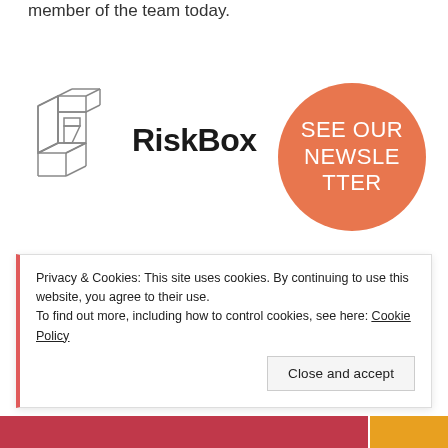member of the team today.
[Figure (logo): RiskBox logo with geometric box icon and bold RiskBox text]
[Figure (infographic): Orange circle button with text: SEE OUR NEWSLETTER]
Privacy & Cookies: This site uses cookies. By continuing to use this website, you agree to their use.
To find out more, including how to control cookies, see here: Cookie Policy
Close and accept